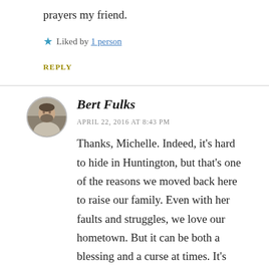prayers my friend.
Liked by 1 person
REPLY
[Figure (photo): Circular avatar photo of Bert Fulks, a bearded man.]
Bert Fulks
APRIL 22, 2016 AT 8:43 PM
Thanks, Michelle. Indeed, it's hard to hide in Huntington, but that's one of the reasons we moved back here to raise our family. Even with her faults and struggles, we love our hometown. But it can be both a blessing and a curse at times. It's like the the corner from I have "the